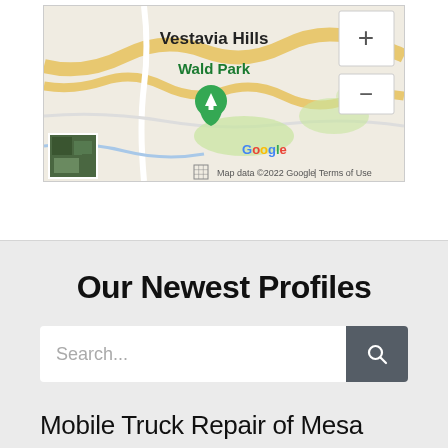[Figure (screenshot): Google Maps screenshot showing Vestavia Hills area with Wald Park label and a green map pin marker. Contains zoom in/out controls (+/-) on the right side, a satellite thumbnail in the lower left, and a footer showing 'Map data ©2022 Google | Terms of Use'. The Google logo is visible near the center.]
Our Newest Profiles
Mobile Truck Repair of Mesa
Truck repair shop
Mesa, Arizona